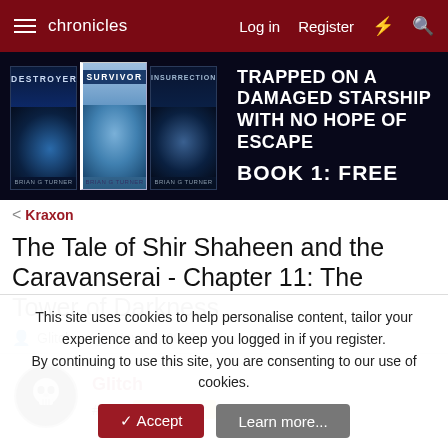chronicles  Log in  Register
[Figure (photo): Book advertisement banner: three sci-fi book covers (Destroyer, Survivor, Insurrection by Brian G Turner) on dark background with text 'TRAPPED ON A DAMAGED STARSHIP WITH NO HOPE OF ESCAPE BOOK 1: FREE']
< Kraxon
The Tale of Shir Shaheen and the Caravanserai - Chapter 11: The Tower of Darkness
Glitch · Nov 16, 2021
Glitch #452 Supporter
This site uses cookies to help personalise content, tailor your experience and to keep you logged in if you register.
By continuing to use this site, you are consenting to our use of cookies.